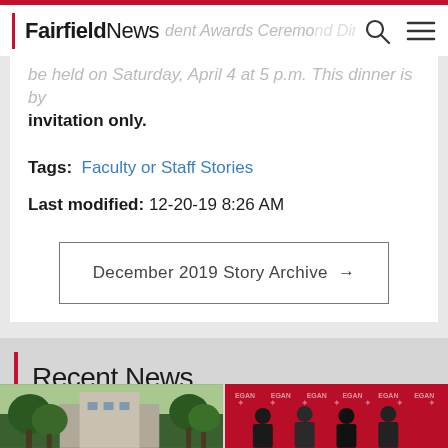FairfieldNews
The Student Awards Ceremony and Dinner will be held on Saturday, April 4 at 5 p.m. This dinner is by invitation only.
Tags: Faculty or Staff Stories
Last modified: 12-20-19 8:26 AM
December 2019 Story Archive →
Recent News
[Figure (photo): Green trees and building exterior photo]
[Figure (photo): Group of people in front of red Fairfield University branded backdrop]